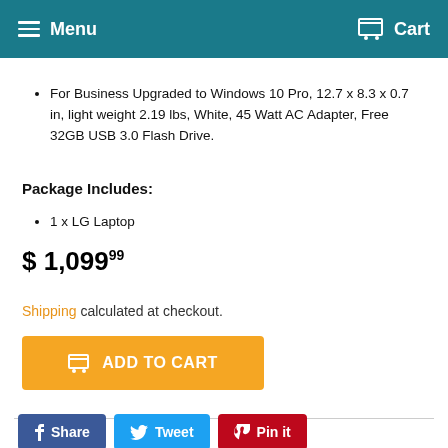Menu   Cart
For Business  Upgraded to Windows 10 Pro, 12.7 x 8.3 x 0.7 in, light weight 2.19 lbs, White, 45 Watt AC Adapter, Free 32GB USB 3.0 Flash Drive.
Package Includes:
1 x LG Laptop
$ 1,09999
Shipping calculated at checkout.
ADD TO CART
Share   Tweet   Pin it